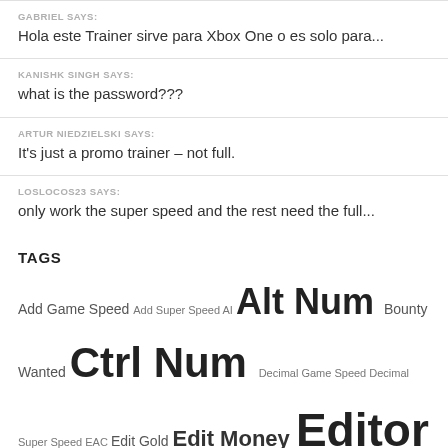GABRIEL SAYS:
Hola este Trainer sirve para Xbox One o es solo para...
KANISHK SINGH SAYS:
what is the password???
ARTUR NIEDZIELSKI SAYS:
It's just a promo trainer – not full.
LOSLOCOS23 SAYS:
only work the super speed and the rest need the full...
TAGS
Add Game Speed Add Super Speed AI Alt Num Bounty Wanted Ctrl Num Decimal Game Speed Decimal Super Speed EAC Edit Gold Edit Money Editor Options Enter Player Nickname ESC EXP F3 Super Speed Freeze Timer Game Speed HOVER HP Infinite Ammo Infinite Attribute Points Infinite Exp Infinite Gold Infinite Health Infinite Items Infinite Money Infinite Vehicle Health Items Pop Max Tension Gauge Multiply Fly Mode Multiply